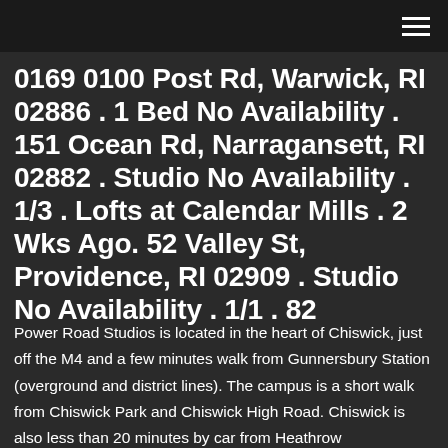[navigation header with hamburger menu]
0169 0100 Post Rd, Warwick, RI 02886 . 1 Bed No Availability . 151 Ocean Rd, Narragansett, RI 02882 . Studio No Availability . 1/3 . Lofts at Calendar Mills . 2 Wks Ago. 52 Valley St, Providence, RI 02909 . Studio No Availability . 1/1 . 82
Power Road Studios is located in the heart of Chiswick, just off the M4 and a few minutes walk from Gunnersbury Station (overground and district lines). The campus is a short walk from Chiswick Park and Chiswick High Road. Chiswick is also less than 20 minutes by car from Heathrow